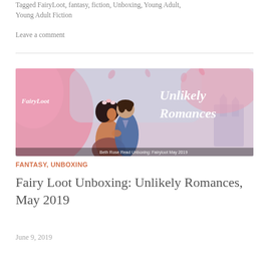Tagged FairyLoot, fantasy, fiction, Unboxing, Young Adult, Young Adult Fiction
Leave a comment
[Figure (illustration): Banner image for FairyLoot Unlikely Romances May 2019 unboxing, showing a couple dancing (woman with dark curly hair wearing floral crown, man in blue jacket) against a pink and pastel background. Text overlaid: 'FairyLoot' on left, 'Unlikely Romances' on right in white cursive. Bottom reads: 'Beth Rose Read Unboxing: Fairyloot May 2019'.]
FANTASY, UNBOXING
Fairy Loot Unboxing: Unlikely Romances, May 2019
June 9, 2019